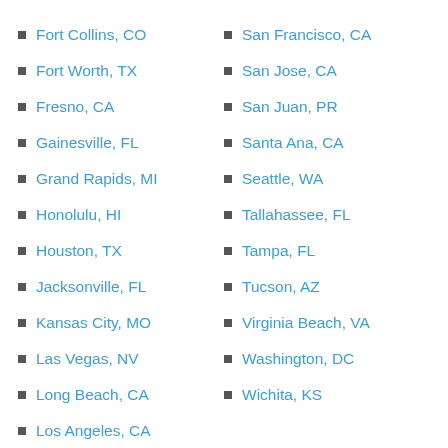Fort Collins, CO
Fort Worth, TX
Fresno, CA
Gainesville, FL
Grand Rapids, MI
Honolulu, HI
Houston, TX
Jacksonville, FL
Kansas City, MO
Las Vegas, NV
Long Beach, CA
Los Angeles, CA
San Francisco, CA
San Jose, CA
San Juan, PR
Santa Ana, CA
Seattle, WA
Tallahassee, FL
Tampa, FL
Tucson, AZ
Virginia Beach, VA
Washington, DC
Wichita, KS